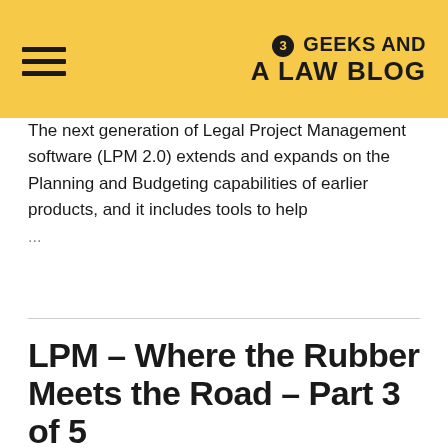3 Geeks and a Law Blog
The next generation of Legal Project Management software (LPM 2.0) extends and expands on the Planning and Budgeting capabilities of earlier products, and it includes tools to help
...
LPM – Where the Rubber Meets the Road – Part 3 of 5
By Ryan McClead on February 25, 2013
This post is the third part of a whitepaper written by Scott